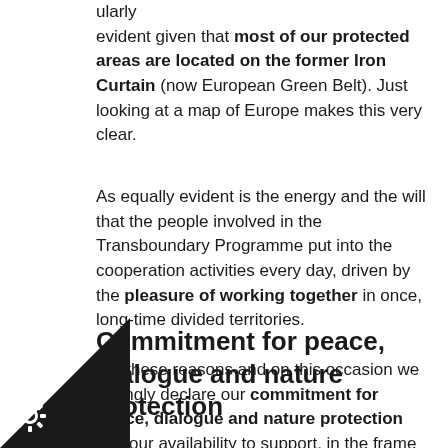ularly evident given that most of our protected areas are located on the former Iron Curtain (now European Green Belt). Just looking at a map of Europe makes this very clear.
As equally evident is the energy and the will that the people involved in the Transboundary Programme put into the cooperation activities every day, driven by the pleasure of working together in once, long-time divided territories.
Commitment for peace, dialogue and nature protection
For these reasons and on this occasion we strongly declare our commitment for peace, dialogue and nature protection and our availability to support, in the frame of our institutional goals and skills, any initiative aimed